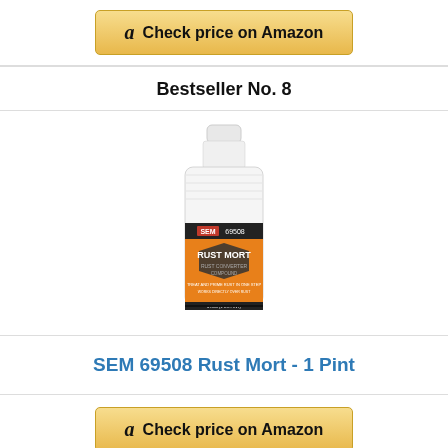[Figure (other): Amazon 'Check price on Amazon' button at the top of the page]
Bestseller No. 8
[Figure (photo): Product photo of SEM 69508 Rust Mort - 1 Pint bottle with white body and orange/black label]
SEM 69508 Rust Mort - 1 Pint
[Figure (other): Amazon 'Check price on Amazon' button at the bottom of the page]